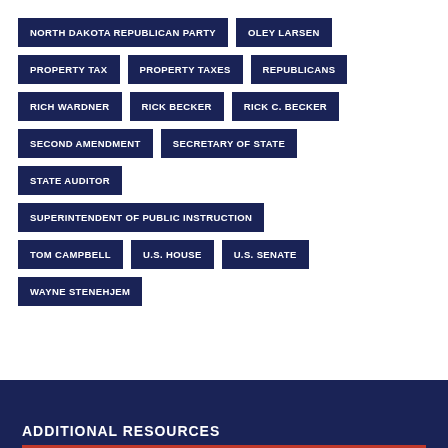NORTH DAKOTA REPUBLICAN PARTY
OLEY LARSEN
PROPERTY TAX
PROPERTY TAXES
REPUBLICANS
RICH WARDNER
RICK BECKER
RICK C. BECKER
SECOND AMENDMENT
SECRETARY OF STATE
STATE AUDITOR
SUPERINTENDENT OF PUBLIC INSTRUCTION
TOM CAMPBELL
U.S. HOUSE
U.S. SENATE
WAYNE STENEHJEM
ADDITIONAL RESOURCES